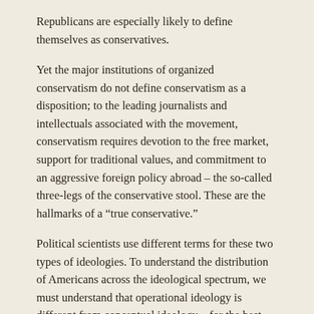Republicans are especially likely to define themselves as conservatives.
Yet the major institutions of organized conservatism do not define conservatism as a disposition; to the leading journalists and intellectuals associated with the movement, conservatism requires devotion to the free market, support for traditional values, and commitment to an aggressive foreign policy abroad – the so-called three-legs of the conservative stool. These are the hallmarks of a “true conservative.”
Political scientists use different terms for these two types of ideologies. To understand the distribution of Americans across the ideological spectrum, we must understand that operational ideology is different from conceptual ideology – for the best recent examination of this issue, I recommend Ideology in America by Christopher Ellis and James Stimson. Americans,